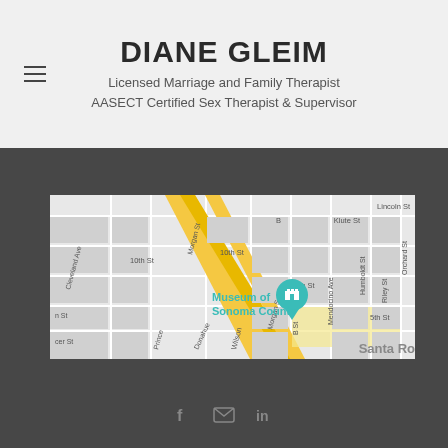DIANE GLEIM
Licensed Marriage and Family Therapist
AASECT Certified Sex Therapist & Supervisor
[Figure (map): Street map showing the area around Museum of Sonoma County in Santa Rosa, CA. Streets visible include Lincoln St, Klute St, B St, 10th St, Morgan St, Cleveland Ave, 7th St, Mendocino Ave, Humboldt St, Riley St, 5th St, Orchard St, Wilson, Donahue, Prince. A diagonal yellow highway runs through the center. A teal location pin marks the Museum of Sonoma County.]
[Figure (infographic): Social media icons: Facebook (f), envelope/email, LinkedIn (in)]